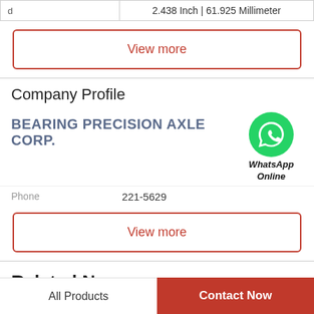|  |  |
| --- | --- |
| d | 2.438 Inch | 61.925 Millimeter |
View more
Company Profile
BEARING PRECISION AXLE CORP.
[Figure (illustration): Green WhatsApp phone icon circle with WhatsApp Online label below]
Phone   221-5629
View more
Related News
All Products   Contact Now